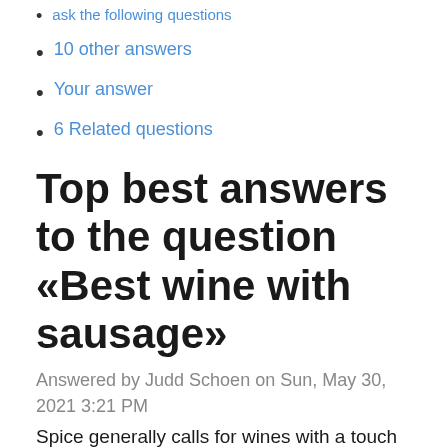ask the following questions
10 other answers
Your answer
6 Related questions
Top best answers to the question «Best wine with sausage»
Answered by Judd Schoen on Sun, May 30, 2021 3:21 PM
Spice generally calls for wines with a touch of sweetness but with sausages like chorizo, merguez or Cajun-spiced sausages I'd be looking primarily for